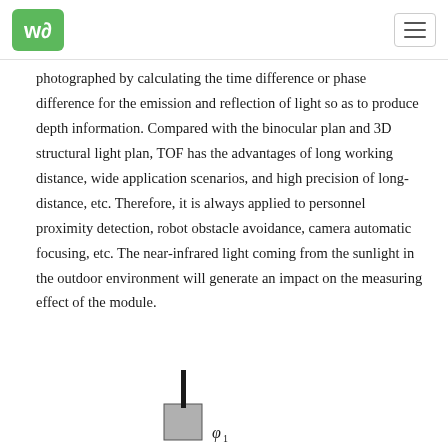WA logo and hamburger menu
photographed by calculating the time difference or phase difference for the emission and reflection of light so as to produce depth information. Compared with the binocular plan and 3D structural light plan, TOF has the advantages of long working distance, wide application scenarios, and high precision of long-distance, etc. Therefore, it is always applied to personnel proximity detection, robot obstacle avoidance, camera automatic focusing, etc. The near-infrared light coming from the sunlight in the outdoor environment will generate an impact on the measuring effect of the module.
[Figure (engineering-diagram): Partial engineering diagram showing a device with a vertical element and the symbol φ₁ labeled]